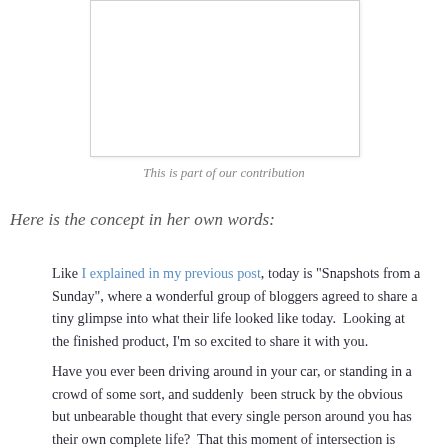[Figure (photo): A white/light colored image box with border, partially visible at top of page, representing a photo contribution.]
This is part of our contribution
Here is the concept in her own words:
Like I explained in my previous post, today is "Snapshots from a Sunday", where a wonderful group of bloggers agreed to share a tiny glimpse into what their life looked like today.  Looking at the finished product, I'm so excited to share it with you.
Have you ever been driving around in your car, or standing in a crowd of some sort, and suddenly  been struck by the obvious but unbearable thought that every single person around you has their own complete life?  That this moment of intersection is fleeting, and they're